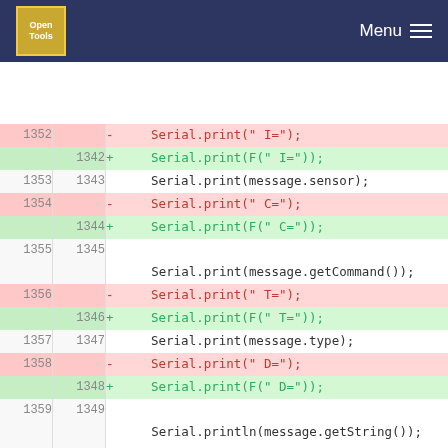Open Tools Menu
[Figure (screenshot): Code diff view showing changes to Serial.print statements, replacing string literals with F() macro wrapped strings. Lines 1352-1361 (old) vs 1342-1351 (new).]